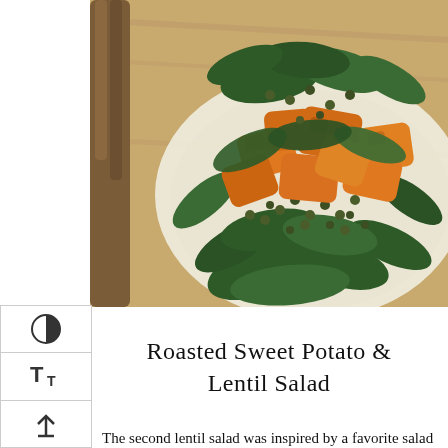[Figure (photo): A bowl of roasted sweet potato and lentil salad with spinach leaves, orange sweet potato chunks, and green lentils, served in a wooden bowl on a wooden board.]
Roasted Sweet Potato & Lentil Salad
The second lentil salad was inspired by a favorite salad I often pick up at Zupan's Market in Portland, Oregon. Whenever I visit, if I am making a day